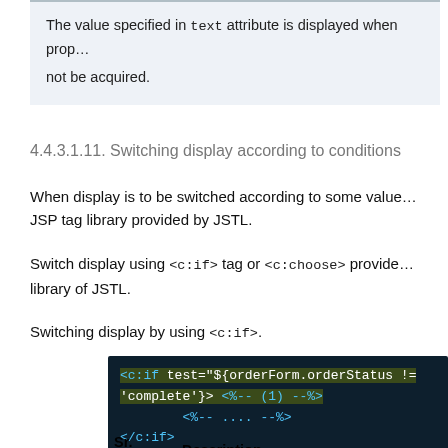The value specified in text attribute is displayed when prop... not be acquired.
4.4.3.1.11. Switching display according to conditions
When display is to be switched according to some value... JSP tag library provided by JSTL.
Switch display using <c:if> tag or <c:choose> provide... library of JSTL.
Switching display by using <c:if>.
[Figure (screenshot): Code block showing JSP/JSTL code: <c:if test="${orderForm.orderStatus != 'complete'}"> <%-- (1) --%> <%-- .... --%> </c:if>]
| Sr.
No. | Description |
| --- | --- |
| (1) | Put the condition for entering the branch... |